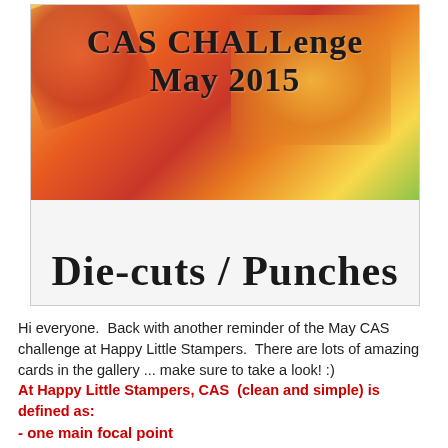[Figure (illustration): CAS Challenge May 2015 banner image with colorful floral watercolor background and text 'CAS CHALLENGE MAY 2015' above 'DIE-CUTS / PUNCHES']
Hi everyone.  Back with another reminder of the May CAS challenge at Happy Little Stampers.  There are lots of amazing cards in the gallery ... make sure to take a look! :)
At Happy Little Stampers, CAS  (clean and simple) is defined as:
- one main focal point